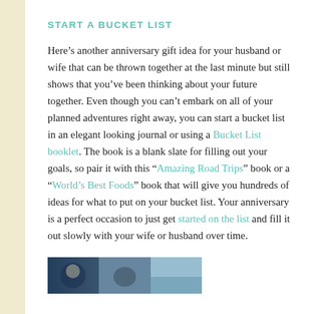START A BUCKET LIST
Here’s another anniversary gift idea for your husband or wife that can be thrown together at the last minute but still shows that you’ve been thinking about your future together. Even though you can’t embark on all of your planned adventures right away, you can start a bucket list in an elegant looking journal or using a Bucket List booklet. The book is a blank slate for filling out your goals, so pair it with this “Amazing Road Trips” book or a “World’s Best Foods” book that will give you hundreds of ideas for what to put on your bucket list. Your anniversary is a perfect occasion to just get started on the list and fill it out slowly with your wife or husband over time.
[Figure (photo): A partial image strip showing what appears to be nature/travel photos at the bottom of the page]